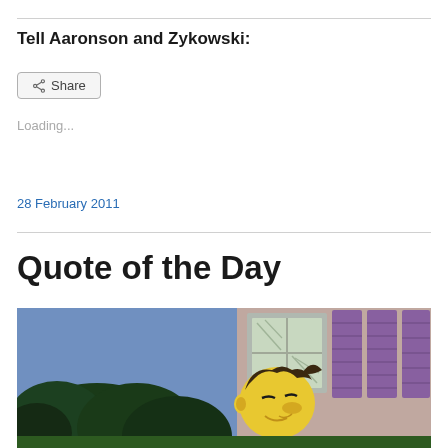Tell Aaronson and Zykowski:
[Figure (screenshot): Share button UI element with share icon and 'Share' label]
Loading...
28 February 2011
Quote of the Day
[Figure (illustration): Animated cartoon scene from The Simpsons showing a character peeking from behind bushes near a house with purple shutters and green-tinted windows]